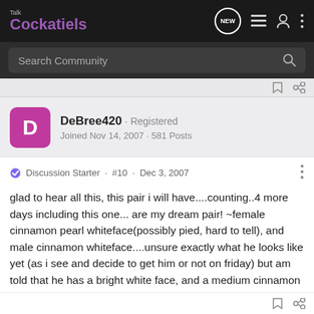Talk Cockatiels — navigation bar with logo, search, and icons
Search Community
DeBree420 · Registered · Joined Nov 14, 2007 · 581 Posts
Discussion Starter · #10 · Dec 3, 2007
glad to hear all this, this pair i will have....counting..4 more days including this one... are my dream pair! ~female cinnamon pearl whiteface(possibly pied, hard to tell), and male cinnamon whiteface....unsure exactly what he looks like yet (as i see and decide to get him or not on friday) but am told that he has a bright white face, and a medium cinnamon brown body... <3